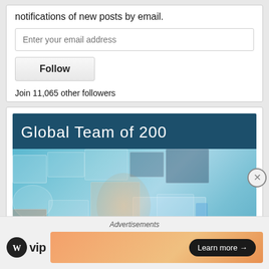notifications of new posts by email.
Enter your email address
Follow
Join 11,065 other followers
[Figure (illustration): Global Team of 200 banner with a woman looking up at a mosaic of digital images and screens]
Advertisements
[Figure (logo): WordPress VIP logo]
Learn more →